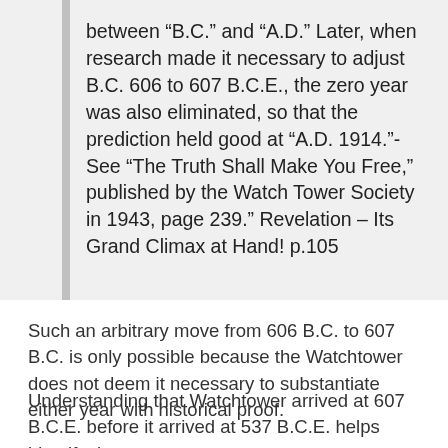between “B.C.” and “A.D.” Later, when research made it necessary to adjust B.C. 606 to 607 B.C.E., the zero year was also eliminated, so that the prediction held good at “A.D. 1914.”-See “The Truth Shall Make You Free,” published by the Watch Tower Society in 1943, page 239.” Revelation – Its Grand Climax at Hand! p.105
Such an arbitrary move from 606 B.C. to 607 B.C. is only possible because the Watchtower does not deem it necessary to substantiate either year with historical proof.
Understanding that Watchtower arrived at 607 B.C.E. before it arrived at 537 B.C.E. helps identify the